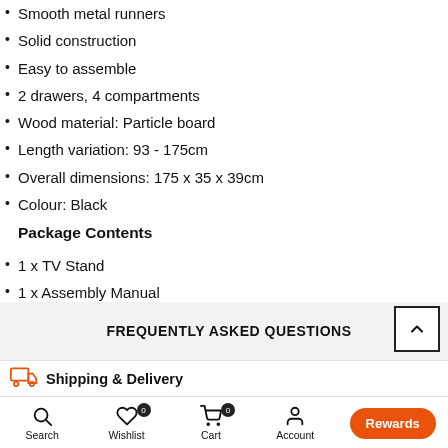Smooth metal runners
Solid construction
Easy to assemble
2 drawers, 4 compartments
Wood material: Particle board
Length variation: 93 - 175cm
Overall dimensions: 175 x 35 x 39cm
Colour: Black
Package Contents
1 x TV Stand
1 x Assembly Manual
FREQUENTLY ASKED QUESTIONS
Shipping & Delivery
Search  Wishlist 0  Cart 0  Account  Shop  Rewards